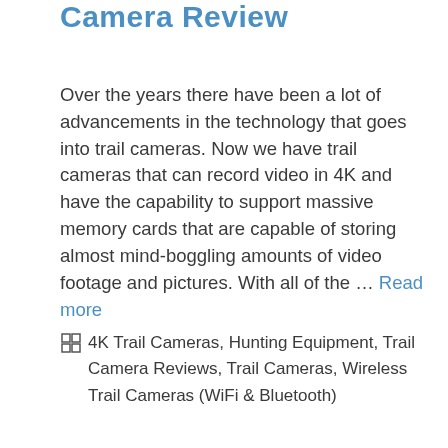Camera Review
Over the years there have been a lot of advancements in the technology that goes into trail cameras. Now we have trail cameras that can record video in 4K and have the capability to support massive memory cards that are capable of storing almost mind-boggling amounts of video footage and pictures. With all of the … Read more
4K Trail Cameras, Hunting Equipment, Trail Camera Reviews, Trail Cameras, Wireless Trail Cameras (WiFi & Bluetooth)